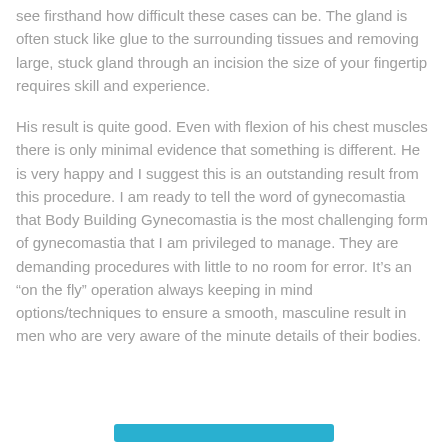see firsthand how difficult these cases can be. The gland is often stuck like glue to the surrounding tissues and removing large, stuck gland through an incision the size of your fingertip requires skill and experience.
His result is quite good. Even with flexion of his chest muscles there is only minimal evidence that something is different. He is very happy and I suggest this is an outstanding result from this procedure. I am ready to tell the word of gynecomastia that Body Building Gynecomastia is the most challenging form of gynecomastia that I am privileged to manage. They are demanding procedures with little to no room for error. It's an “on the fly” operation always keeping in mind options/techniques to ensure a smooth, masculine result in men who are very aware of the minute details of their bodies.